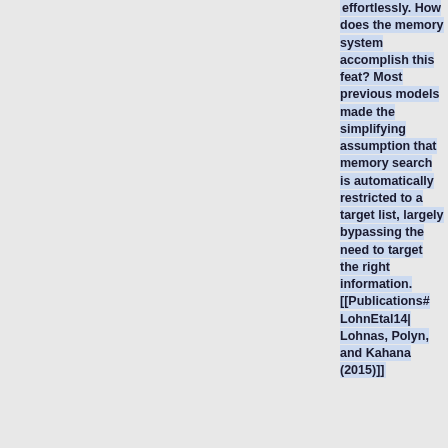effortlessly. How does the memory system accomplish this feat? Most previous models made the simplifying assumption that memory search is automatically restricted to a target list, largely bypassing the need to target the right information. [[Publications#LohnEtal14|Lohnas, Polyn, and Kahana (2015)]]